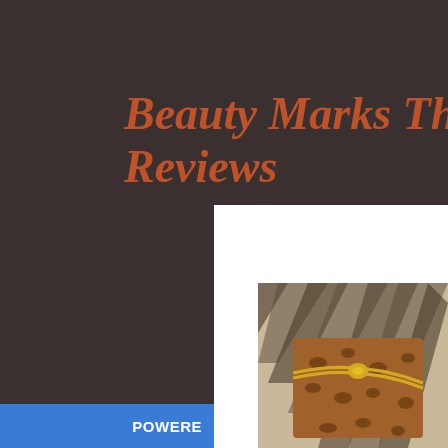Beauty Marks The Sp… Reviews
Home
About Us
Recent Posts
PR Friendly
Interviews!
Reviews
November Starlooks Starbox…
11/29/2012
[Figure (photo): Leopard print box with gold ribbon on zebra print background]
POWERE…